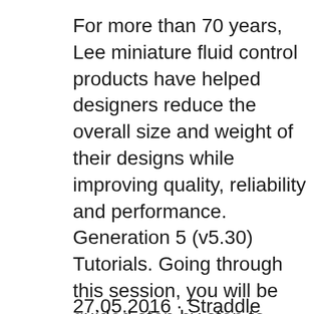For more than 70 years, Lee miniature fluid control products have helped designers reduce the overall size and weight of their designs while improving quality, reliability and performance. Generation 5 (v5.30) Tutorials. Going through this session, you will be guided step by step to learn how to use the main features to perform a Pressure Transient Analysis: creating a new document, loading the data, extracting the data interval and generating the necessary plots, the use of the document tabs, tool strips and additional options, the use of the analysis tools, the generation of
27.05.2016 · Straddle packer and